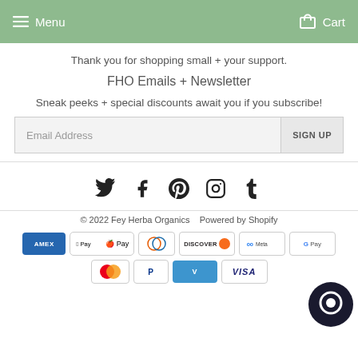Menu  Cart
Thank you for shopping small + your support.
FHO Emails + Newsletter
Sneak peeks + special discounts await you if you subscribe!
Email Address  SIGN UP
[Figure (other): Social media icons: Twitter, Facebook, Pinterest, Instagram, Tumblr]
© 2022 Fey Herba Organics  Powered by Shopify
[Figure (other): Payment method icons: Amex, Apple Pay, Diners, Discover, Meta, Google Pay, Mastercard, PayPal, Venmo, Visa]